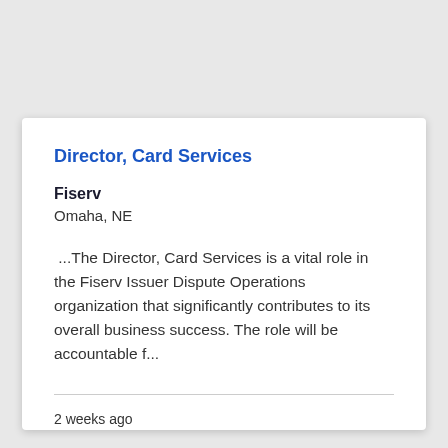Director, Card Services
Fiserv
Omaha, NE
...The Director, Card Services is a vital role in the Fiserv Issuer Dispute Operations organization that significantly contributes to its overall business success. The role will be accountable f...
2 weeks ago